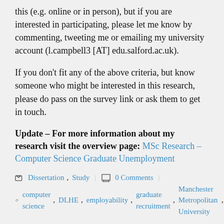this (e.g. online or in person), but if you are interested in participating, please let me know by commenting, tweeting me or emailing my university account (l.campbell3 [AT] edu.salford.ac.uk).
If you don't fit any of the above criteria, but know someone who might be interested in this research, please do pass on the survey link or ask them to get in touch.
Update – For more information about my research visit the overview page: MSc Research – Computer Science Graduate Unemployment
Dissertation, Study | 0 Comments | computer science, DLHE, employability, graduate recruitment, Manchester Metropolitan University, STEM, unemployment